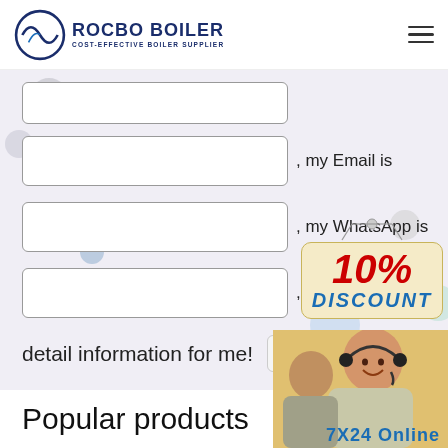ROCBO BOILER - COST-EFFECTIVE BOILER SUPPLIER
[Figure (screenshot): Contact form with input fields for Email and WhatsApp, text reading ', my Email is', ', my WhatsApp is', ', Please Send the detail information for me!', a submit button, and a 10% DISCOUNT badge]
Popular products
[Figure (photo): Customer service representative wearing headset, smiling]
7X24 Online